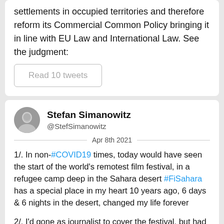settlements in occupied territories and therefore reform its Commercial Common Policy bringing it in line with EU Law and International Law. See the judgment:
Read 10 tweets
Stefan Simanowitz
@StefSimanowitz
Apr 8th 2021
1/. In non-#COVID19 times, today would have seen the start of the world's remotest film festival, in a refugee camp deep in the Sahara desert #FiSahara has a special place in my heart 10 years ago, 6 days & 6 nights in the desert, changed my life forever
2/. I'd gone as journalist to cover the festival, but had been struck by how little the world knew about #WesternSahara